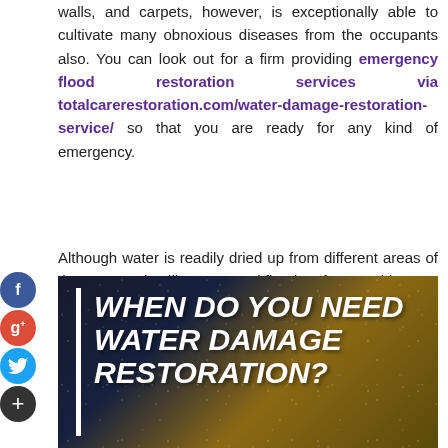walls, and carpets, however, is exceptionally able to cultivate many obnoxious diseases from the occupants also. You can look out for a firm providing emergency flood restoration services via totalcarerestoration.com/water-damage-restoration-service/ so that you are ready for any kind of emergency.
Although water is readily dried up from different areas of the construction like cemented flooring, forests, driveway, and yard, etc, it's fairly hard to fully uncoil and desiccate rainwater out of carpets and other upholsteries.
[Figure (photo): Dark image of water droplets on glass with text overlay reading WHEN DO YOU NEED WATER DAMAGE RESTORATION? in bold italic white text with a white vertical bar on the left side]